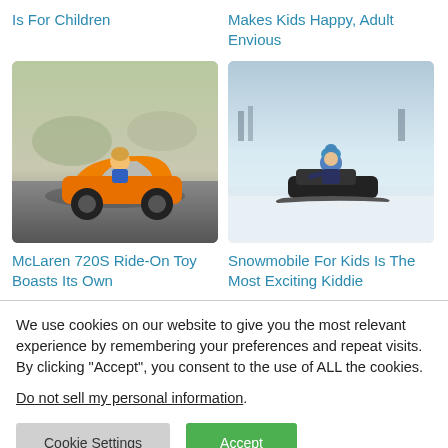Is For Children
Makes Kids Happy, Adult Envious
[Figure (photo): Young boy riding a yellow McLaren 720S ride-on toy car on a road]
[Figure (photo): Child riding a snowmobile on snow/ice wearing winter gear]
McLaren 720S Ride-On Toy Boasts Its Own
Snowmobile For Kids Is The Most Exciting Kiddie
We use cookies on our website to give you the most relevant experience by remembering your preferences and repeat visits. By clicking “Accept”, you consent to the use of ALL the cookies.
Do not sell my personal information.
Cookie Settings
Accept